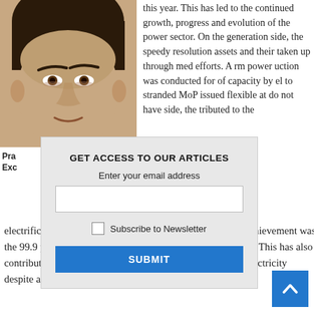[Figure (photo): Headshot of a man, cropped to upper face, positioned top-left of page]
this year. This has led to the continued growth, progress and evolution of the power sector. On the generation side, the speedy resolution assets and their taken up through med efforts. A rm power uction was conducted for of capacity by el to stranded MoP issued flexible at do not have side, the tributed to the electrification of rural households in a big way. A notable achievement was the 99.9 per cent electrification of households in the country. This has also contributed positively to the continued demand growth of electricity despite a general economic slowdown.
Pra
Exc
[Figure (screenshot): Modal popup form: GET ACCESS TO OUR ARTICLES, email input, Subscribe to Newsletter checkbox, SUBMIT button]
electrification of rural households in a big way. A notable achievement was the 99.9 per cent electrification of households in the country. This has also contributed positively to the continued demand growth of electricity despite a general economic slowdown.